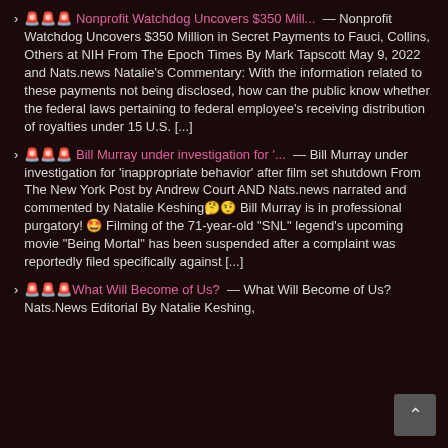🚨🚨🚨 Nonprofit Watchdog Uncovers $350 Mill... — Nonprofit Watchdog Uncovers $350 Million in Secret Payments to Fauci, Collins, Others at NIH From The Epoch Times By Mark Tapscott May 9, 2022 and Nats.news Natalie's Commentary: With the information related to these payments not being disclosed, how can the public know whether the federal laws pertaining to federal employee's receiving distribution of royalties under 15 U.S. [...]
🚨🚨🚨 Bill Murray under investigation for '... — Bill Murray under investigation for 'inappropriate behavior' after film set shutdown From The New York Post by Andrew Court AND Nats.news narrated and commented by Natalie Keshing🤔🤨 Bill Murray is in professional purgatory! 🤩 Filming of the 71-year-old "SNL" legend's upcoming movie "Being Mortal" has been suspended after a complaint was reportedly filed specifically against [...]
🚨🚨🚨What Will Become of Us? — What Will Become of Us? Nats.News Editorial By Natalie Keshing,